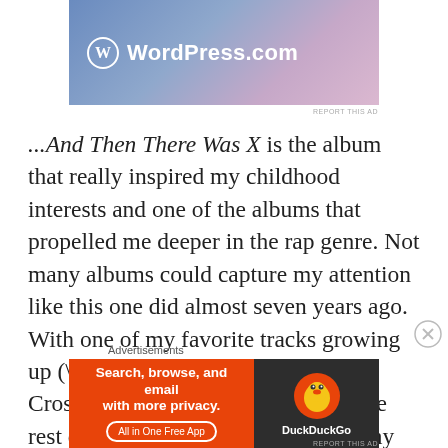[Figure (screenshot): WordPress.com advertisement banner with gradient blue-pink background and WordPress logo]
REPORT THIS AD
...And Then There Was X is the album that really inspired my childhood interests and one of the albums that propelled me deeper in the rap genre. Not many albums could capture my attention like this one did almost seven years ago. With one of my favorite tracks growing up (“One More Road to Cross”) being on this album, the rest of the songs are just a bonus in my opinion. Each song serves a purpose and tells a deep and heavy story about the everyday
Advertisements
[Figure (screenshot): DuckDuckGo advertisement banner: orange left side says 'Search, browse, and email with more privacy. All in One Free App', dark right side with DuckDuckGo duck logo]